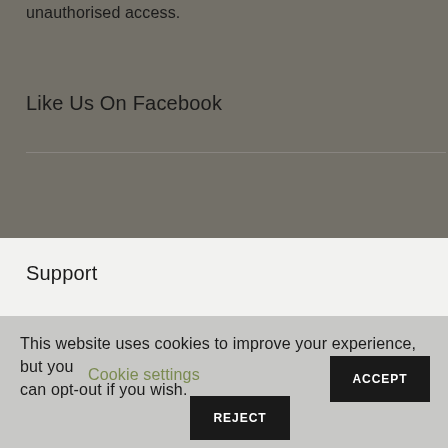unauthorised access.
Like Us On Facebook
Support
This website uses cookies to improve your experience, but you can opt-out if you wish.  Cookie settings  ACCEPT  REJECT